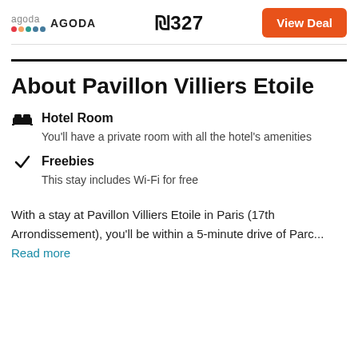AGODA  ₪327  View Deal
About Pavillon Villiers Etoile
Hotel Room – You'll have a private room with all the hotel's amenities
Freebies – This stay includes Wi-Fi for free
With a stay at Pavillon Villiers Etoile in Paris (17th Arrondissement), you'll be within a 5-minute drive of Parc...
Read more